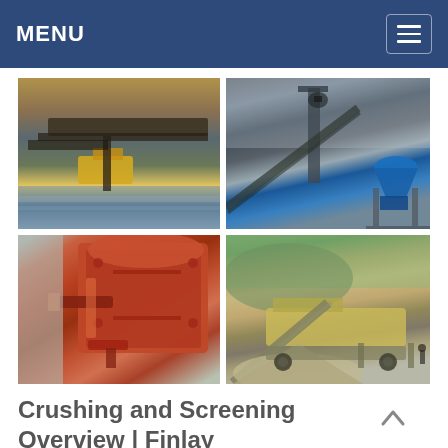MENU
[Figure (photo): Four-panel photo grid showing mining and crushing equipment: top-left shows conveyor belt machinery with water reflection, top-right shows industrial plant with blue cone crusher, bottom-left shows close-up of red/orange impact crusher, bottom-right shows mobile crushing and screening plant with gravel pile]
Crushing and Screening Overview | Finlay